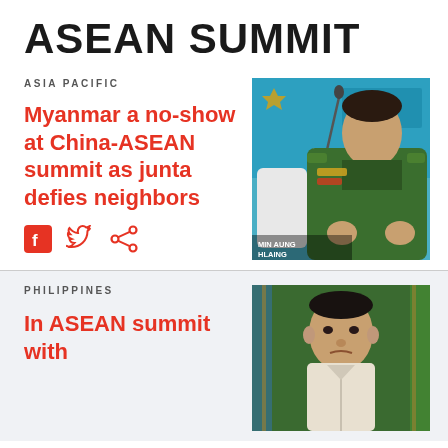ASEAN SUMMIT
ASIA PACIFIC
Myanmar a no-show at China-ASEAN summit as junta defies neighbors
[Figure (photo): Military general in green uniform seated at a conference, with MCIB signage in background. Caption: MIN AUNG HLAING]
MIN AUNG HLAING
PHILIPPINES
In ASEAN summit with
[Figure (photo): Man in barong tagalog seated, appears to be Duterte at official event with flags in background]